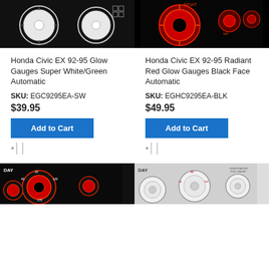[Figure (photo): Honda Civic EX 92-95 Glow Gauges Super White/Green Automatic - white gauge cluster on black background]
[Figure (photo): Honda Civic EX 92-95 Radiant Red Glow Gauges Black Face Automatic - red glowing gauge cluster on black background]
Honda Civic EX 92-95 Glow Gauges Super White/Green Automatic
Honda Civic EX 92-95 Radiant Red Glow Gauges Black Face Automatic
SKU: EGC9295EA-SW
SKU: EGHC9295EA-BLK
$39.95
$49.95
[Figure (photo): DAY - Honda Civic gauge cluster with red markings on dark background]
[Figure (photo): DAY - Honda Civic white gauge cluster with red markings]